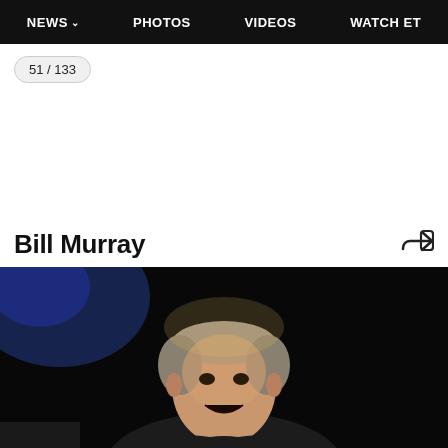NEWS  PHOTOS  VIDEOS  WATCH ET
51 / 133
Bill Murray
[Figure (photo): Bill Murray on a dark stage, mouth open, wearing a dark blazer, illuminated from above, with a blue light in the background]